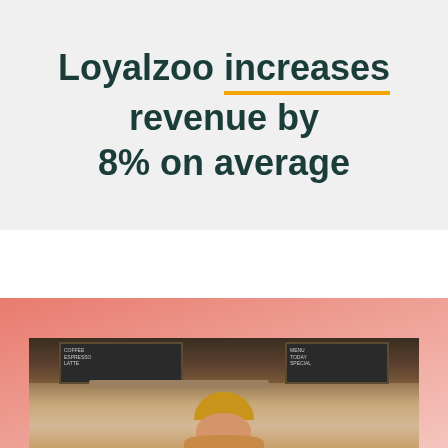Loyalzoo increases revenue by 8% on average
[Figure (photo): Photo of a cafe/restaurant interior showing a person wearing a mustard/golden beanie hat, with chalkboard menus visible in the background. The image sits on a salmon/coral colored background.]